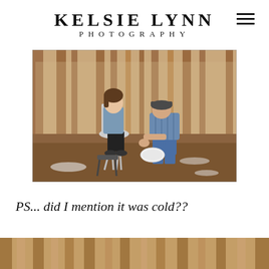KELSIE LYNN PHOTOGRAPHY
[Figure (photo): A woman sits on a modern chair outdoors in a pine forest while a man kneels before her washing her feet in a white bowl. The ground is earthy with pine needles and a dusting of snow.]
PS... did I mention it was cold??
[Figure (photo): Partial bottom strip of a forest/outdoor photo with pine trees, partially cut off at the page bottom.]